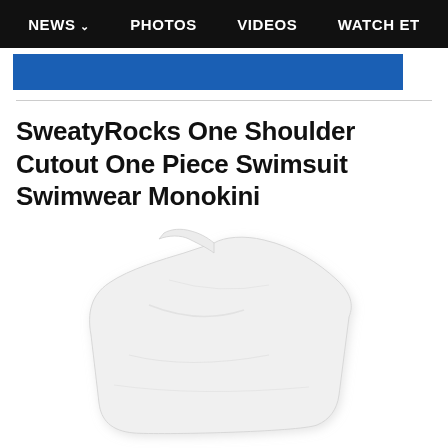NEWS  PHOTOS  VIDEOS  WATCH ET
SweatyRocks One Shoulder Cutout One Piece Swimsuit Swimwear Monokini
[Figure (photo): White one-shoulder cutout one piece swimsuit / monokini on a white background]